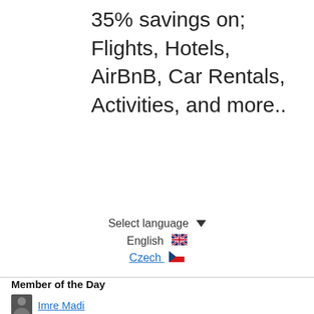35% savings on;
Flights, Hotels,
AirBnB, Car Rentals,
Activities, and more..
Select language
English 🇬🇧
Czech 🇨🇿
Member of the Day
Imre Madi